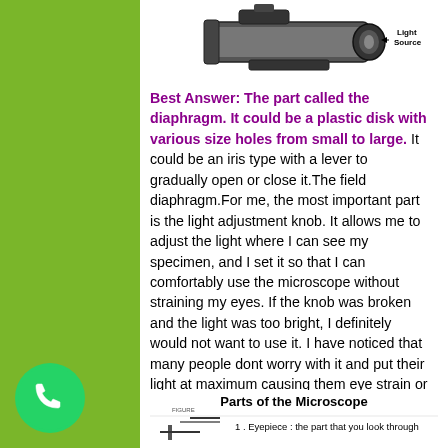[Figure (schematic): Diagram of a microscope light source showing cross-section with 'Light Source' label and arrow, dark cylindrical body with internal components visible]
Best Answer: The part called the diaphragm. It could be a plastic disk with various size holes from small to large. It could be an iris type with a lever to gradually open or close it.The field diaphragm.For me, the most important part is the light adjustment knob. It allows me to adjust the light where I can see my specimen, and I set it so that I can comfortably use the microscope without straining my eyes. If the knob was broken and the light was too bright, I definitely would not want to use it. I have noticed that many people dont worry with it and put their light at maximum causing them eye strain or headaches after some time.
[Figure (schematic): Parts of the Microscope diagram with labeled components. Bottom shows '1. Eyepiece: the part that you look through']
[Figure (logo): WhatsApp logo - green circle with white phone handset icon]